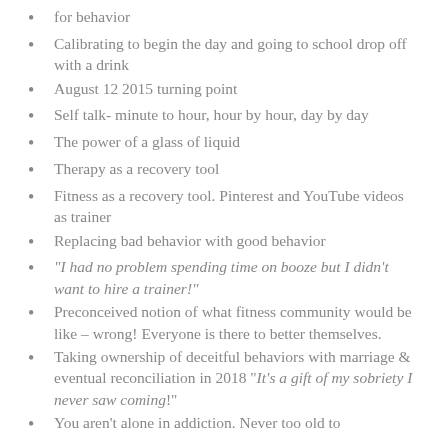for behavior
Calibrating to begin the day and going to school drop off with a drink
August 12 2015 turning point
Self talk- minute to hour, hour by hour, day by day
The power of a glass of liquid
Therapy as a recovery tool
Fitness as a recovery tool. Pinterest and YouTube videos as trainer
Replacing bad behavior with good behavior
"I had no problem spending time on booze but I didn't want to hire a trainer!"
Preconceived notion of what fitness community would be like – wrong! Everyone is there to better themselves.
Taking ownership of deceitful behaviors with marriage & eventual reconciliation in 2018 "It's a gift of my sobriety I never saw coming!"
You aren't alone in addiction. Never too old to